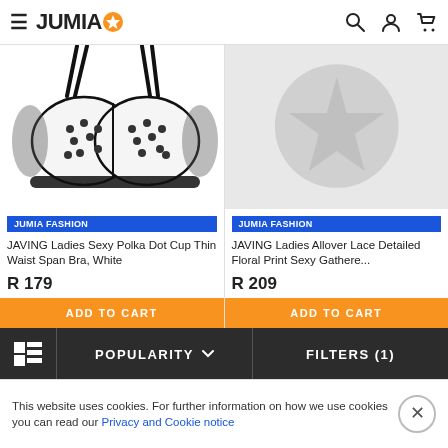JUMIA
[Figure (photo): White polka dot bra with black trim on white background]
JUMIA FASHION
JAVING Ladies Sexy Polka Dot Cup Thin Waist Span Bra, White
R 179
[Figure (photo): Grey placeholder image with star icon]
JUMIA FASHION
JAVING Ladies Allover Lace Detailed Floral Print Sexy Gathere...
R 209
ADD TO CART
ADD TO CART
POPULARITY  FILTERS (1)
This website uses cookies. For further information on how we use cookies you can read our Privacy and Cookie notice